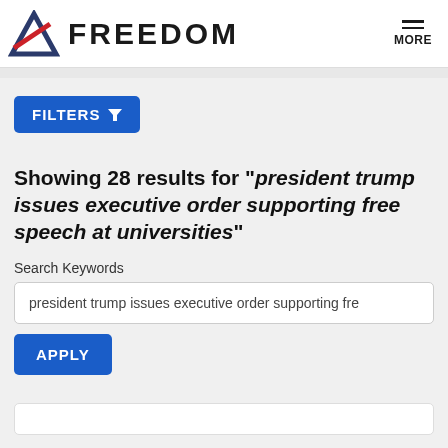FREEDOM MORE
FILTERS
Showing 28 results for " president trump issues executive order supporting free speech at universities"
Search Keywords
president trump issues executive order supporting fre
APPLY